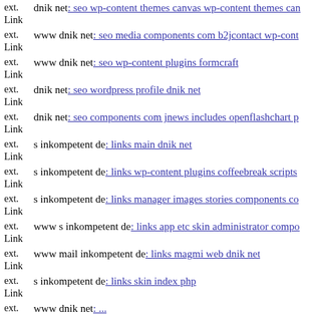ext. Link dnik net: seo wp-content themes canvas wp-content themes can
ext. Link www dnik net: seo media components com b2jcontact wp-cont
ext. Link www dnik net: seo wp-content plugins formcraft
ext. Link dnik net: seo wordpress profile dnik net
ext. Link dnik net: seo components com jnews includes openflashchart p
ext. Link s inkompetent de: links main dnik net
ext. Link s inkompetent de: links wp-content plugins coffeebreak scripts
ext. Link s inkompetent de: links manager images stories components co
ext. Link www s inkompetent de: links app etc skin administrator compo
ext. Link www mail inkompetent de: links magmi web dnik net
ext. Link s inkompetent de: links skin index php
ext. Link www dnik net: ...